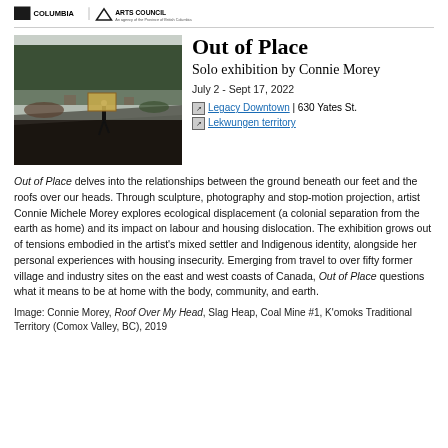British Columbia Arts Council
[Figure (photo): Person carrying a large wooden sign/board on their back, walking across a dark slag heap landscape with trees in the background]
Out of Place
Solo exhibition by Connie Morey
July 2 - Sept 17, 2022
Legacy Downtown | 630 Yates St.
Lekwungen territory
Out of Place delves into the relationships between the ground beneath our feet and the roofs over our heads. Through sculpture, photography and stop-motion projection, artist Connie Michele Morey explores ecological displacement (a colonial separation from the earth as home) and its impact on labour and housing dislocation. The exhibition grows out of tensions embodied in the artist's mixed settler and Indigenous identity, alongside her personal experiences with housing insecurity. Emerging from travel to over fifty former village and industry sites on the east and west coasts of Canada, Out of Place questions what it means to be at home with the body, community, and earth.
Image: Connie Morey, Roof Over My Head, Slag Heap, Coal Mine #1, K'omoks Traditional Territory (Comox Valley, BC), 2019